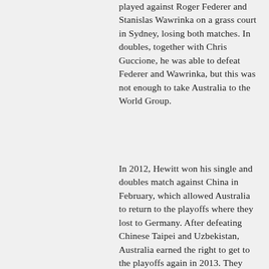played against Roger Federer and Stanislas Wawrinka on a grass court in Sydney, losing both matches. In doubles, together with Chris Guccione, he was able to defeat Federer and Wawrinka, but this was not enough to take Australia to the World Group.
In 2012, Hewitt won his single and doubles match against China in February, which allowed Australia to return to the playoffs where they lost to Germany. After defeating Chinese Taipei and Uzbekistan, Australia earned the right to get to the playoffs again in 2013. They ended up routing Poland 4–1 on their soil including a convincing 6–1 6–3 6–2 win for Hewitt over recent Wimbledon quarterfinalist Łukasz Kubot. In 2014, Australia crashed out 5–0 in